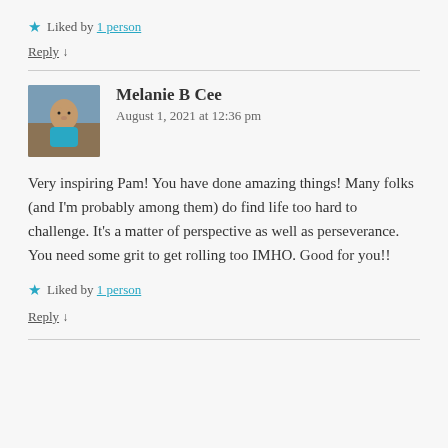★ Liked by 1 person
Reply ↓
Melanie B Cee
August 1, 2021 at 12:36 pm
Very inspiring Pam! You have done amazing things! Many folks (and I'm probably among them) do find life too hard to challenge. It's a matter of perspective as well as perseverance. You need some grit to get rolling too IMHO. Good for you!!
★ Liked by 1 person
Reply ↓